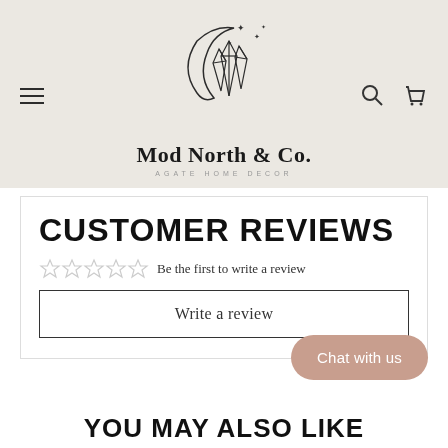[Figure (logo): Mod North & Co. logo with crescent moon and crystal geometric illustration, tagline AGATE HOME DECOR]
CUSTOMER REVIEWS
☆☆☆☆☆ Be the first to write a review
Write a review
Chat with us
YOU MAY ALSO LIKE